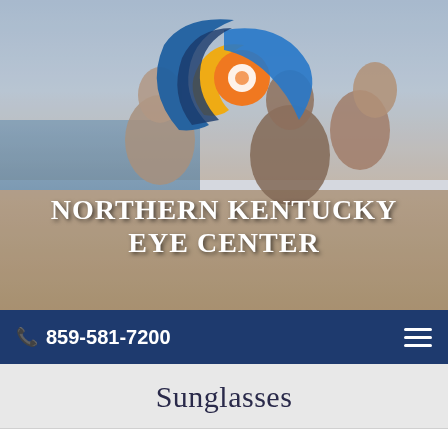[Figure (photo): Hero image of people at a beach, smiling and carrying each other on their backs, overlaid with the Northern Kentucky Eye Center logo (blue crescent, orange circle, yellow swirl) and white text reading NORTHERN KENTUCKY EYE CENTER]
📞 859-581-7200
Sunglasses
Sunglasses are Fashionable and Functional
While sunlight is a beautiful thing, too much of anything